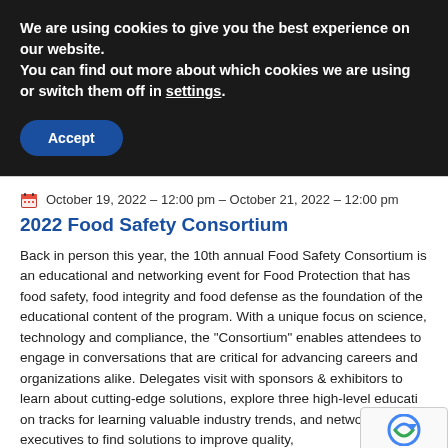We are using cookies to give you the best experience on our website.
You can find out more about which cookies we are using or switch them off in settings.
Accept
October 19, 2022 – 12:00 pm – October 21, 2022 – 12:00 pm
2022 Food Safety Consortium
Back in person this year, the 10th annual Food Safety Consortium is an educational and networking event for Food Protection that has food safety, food integrity and food defense as the foundation of the educational content of the program. With a unique focus on science, technology and compliance, the "Consortium" enables attendees to engage in conversations that are critical for advancing careers and organizations alike. Delegates visit with sponsors & exhibitors to learn about cutting-edge solutions, explore three high-level education tracks for learning valuable industry trends, and network industry executives to find solutions to improve quality,